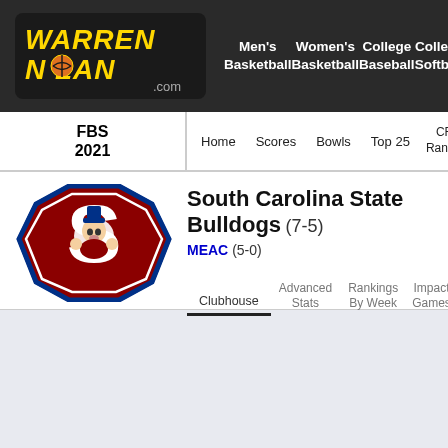[Figure (logo): Warren Nolan .com logo in yellow/gold stylized text with a basketball]
Men's Basketball | Women's Basketball | College Baseball | College Softball
FBS 2021 | Home | Scores | Bowls | Top 25 | CFP Ranking | EU Ran...
[Figure (logo): South Carolina State Bulldogs mascot logo - maroon S with bulldog]
South Carolina State Bulldogs (7-5)
MEAC (5-0)
Clubhouse | Advanced Stats | Rankings By Week | Impact Games | Predict Results